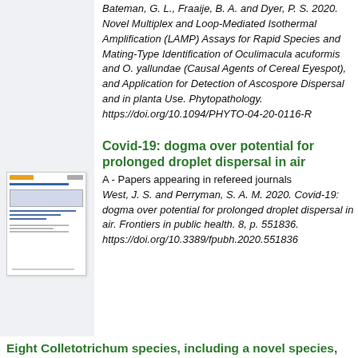Bateman, G. L., Fraaije, B. A. and Dyer, P. S. 2020. Novel Multiplex and Loop-Mediated Isothermal Amplification (LAMP) Assays for Rapid Species and Mating-Type Identification of Oculimacula acuformis and O. yallundae (Causal Agents of Cereal Eyespot), and Application for Detection of Ascospore Dispersal and in planta Use. Phytopathology. https://doi.org/10.1094/PHYTO-04-20-0116-R
[Figure (screenshot): Thumbnail of a document/webpage with header, blue title bar, content box, and blue hyperlink lines]
Covid-19: dogma over potential for prolonged droplet dispersal in air
A - Papers appearing in refereed journals
West, J. S. and Perryman, S. A. M. 2020. Covid-19: dogma over potential for prolonged droplet dispersal in air. Frontiers in public health. 8, p. 551836. https://doi.org/10.3389/fpubh.2020.551836
Eight Colletotrichum species, including a novel species,